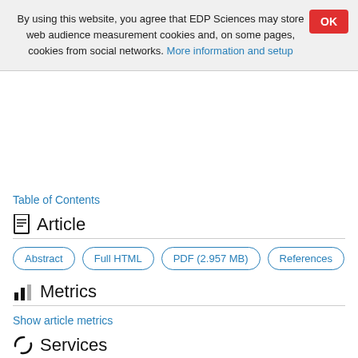By using this website, you agree that EDP Sciences may store web audience measurement cookies and, on some pages, cookies from social networks. More information and setup
Table of Contents
Article
Abstract | Full HTML | PDF (2.957 MB) | References
Metrics
Show article metrics
Services
Same authors
- Google Scholar
EDP Sciences database